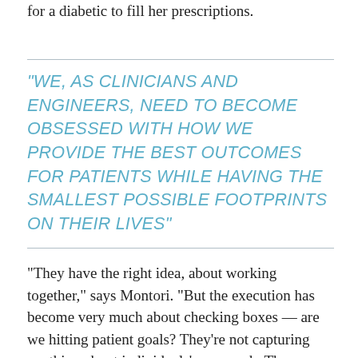for a diabetic to fill her prescriptions.
"WE, AS CLINICIANS AND ENGINEERS, NEED TO BECOME OBSESSED WITH HOW WE PROVIDE THE BEST OUTCOMES FOR PATIENTS WHILE HAVING THE SMALLEST POSSIBLE FOOTPRINTS ON THEIR LIVES"
"They have the right idea, about working together," says Montori. "But the execution has become very much about checking boxes — are we hitting patient goals? They're not capturing anything about individuals' own work. There are no quality measures in any quality dashboard we use right now